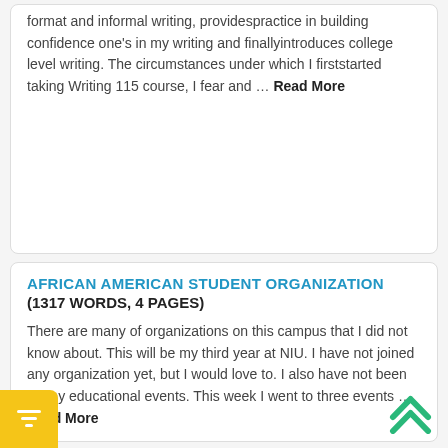format and informal writing, providespractice in building confidence one's in my writing and finallyintroduces college level writing. The circumstances under which I firststarted taking Writing 115 course, I fear and … Read More
AFRICAN AMERICAN STUDENT ORGANIZATION
(1317 WORDS, 4 PAGES)
There are many of organizations on this campus that I did not know about. This will be my third year at NIU. I have not joined any organization yet, but I would love to. I also have not been to any educational events. This week I went to three events … Read More
SOCIETYS IDEA OF BEAUTY
(1498 WORDS, 5 PAGES)
There is not a single eye or ear that has not been exposed to a captivating magazine article or television commercial that imposes what the perfect look is. Women and girls are